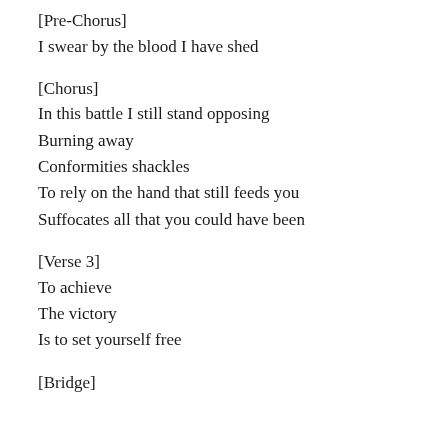[Pre-Chorus]
I swear by the blood I have shed
[Chorus]
In this battle I still stand opposing
Burning away
Conformities shackles
To rely on the hand that still feeds you
Suffocates all that you could have been
[Verse 3]
To achieve
The victory
Is to set yourself free
[Bridge]